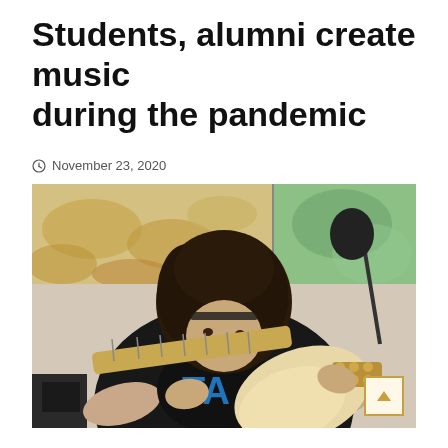Students, alumni create music during the pandemic
November 23, 2020
[Figure (photo): A young person with curly hair and a dark t-shirt plays an electric guitar on stage, leaning forward toward the guitar neck. A microphone stand is visible to the right. Behind the performer is a projection screen showing food images on the left and greenery on the right.]